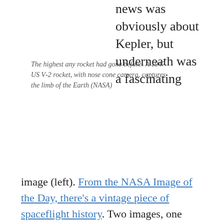news was obviously about Kepler, but underneath was a fascinating
The highest any rocket had gone before: A 1947 US V-2 rocket, with nose cone camera, captures the limb of the Earth (NASA)
image (left). From the NASA Image of the Day, there's a vintage piece of spaceflight history. Two images, one facing north, the other south, shows the first view from an altitude of over 100 miles (160 km). The pictures were taken by a camera in the nose cone of an experimental V-2 rocket launched by the US on March 7th, 1947. The V-2 technology, as used by Nazi Germany in World War II, had been captured